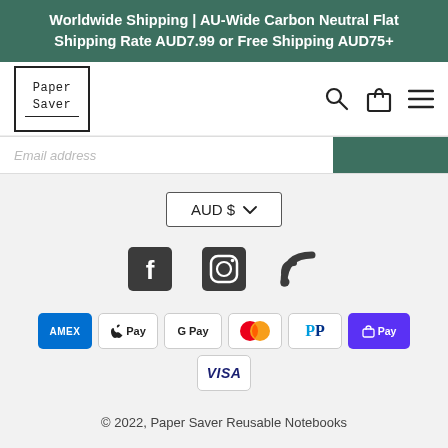Worldwide Shipping | AU-Wide Carbon Neutral Flat Shipping Rate AUD7.99 or Free Shipping AUD75+
[Figure (logo): Paper Saver logo in a bordered box with serif monospace text]
[Figure (infographic): Email address input field with dark green subscribe button]
AUD $
[Figure (infographic): Social media icons: Facebook, Instagram, RSS feed]
[Figure (infographic): Payment method badges: American Express, Apple Pay, Google Pay, Mastercard, PayPal, Shop Pay, Visa]
© 2022, Paper Saver Reusable Notebooks